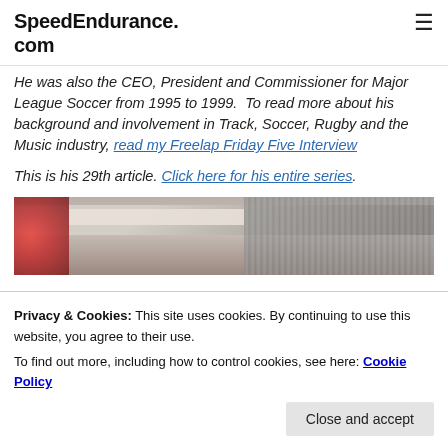SpeedEndurance.com
He was also the CEO, President and Commissioner for Major League Soccer from 1995 to 1999.  To read more about his background and involvement in Track, Soccer, Rugby and the Music industry, read my Freelap Friday Five Interview
This is his 29th article. Click here for his entire series.
[Figure (photo): Partial photo visible behind cookie consent banner, showing what appears to be a wooden or metal surface with a red element on the left side.]
Privacy & Cookies: This site uses cookies. By continuing to use this website, you agree to their use.
To find out more, including how to control cookies, see here: Cookie Policy
Close and accept